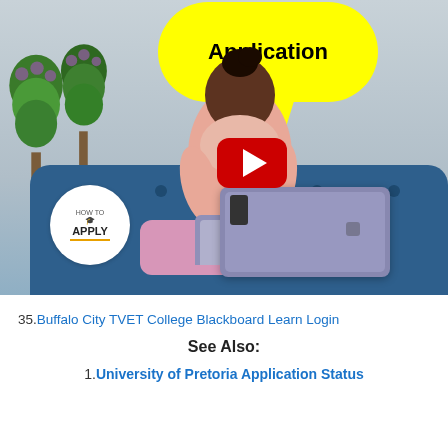[Figure (photo): YouTube video thumbnail showing a young woman sitting on a blue couch with a laptop. She is smiling. There is a yellow speech bubble above her with the word 'Application'. Green topiary trees are visible on the left. A red YouTube play button is in the center. A 'How to Apply' logo circle is in the bottom left.]
35.Buffalo City TVET College Blackboard Learn Login
See Also:
1.University of Pretoria Application Status